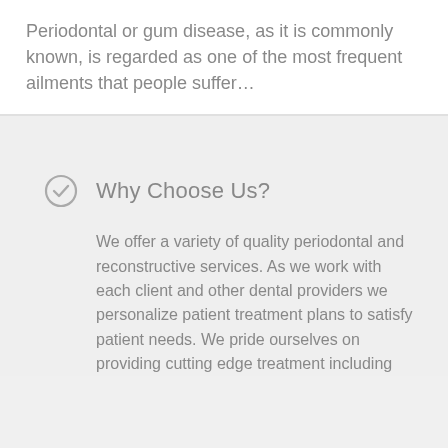Periodontal or gum disease, as it is commonly known, is regarded as one of the most frequent ailments that people suffer…
Why Choose Us?
We offer a variety of quality periodontal and reconstructive services. As we work with each client and other dental providers we personalize patient treatment plans to satisfy patient needs. We pride ourselves on providing cutting edge treatment including